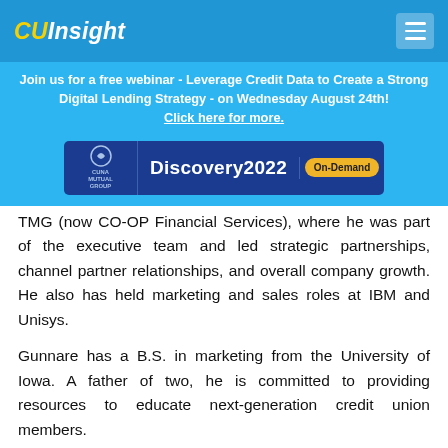CUInsight
Join us for a free webinar - Leverage Credit Data to Create a Strong Digital Lending Strategy - on Wednesday August 24th! Click here for more.
[Figure (other): CUNA Mutual Group Discovery2022 On-Demand advertisement banner]
TMG (now CO-OP Financial Services), where he was part of the executive team and led strategic partnerships, channel partner relationships, and overall company growth. He also has held marketing and sales roles at IBM and Unisys.
Gunnare has a B.S. in marketing from the University of Iowa. A father of two, he is committed to providing resources to educate next-generation credit union members.
Dangerfield has been with Dublin, CA-based Patelco CU for